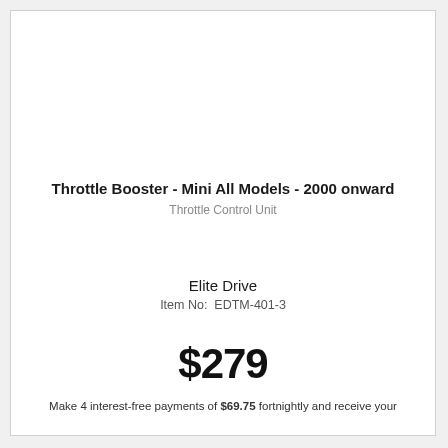Throttle Booster - Mini All Models - 2000 onward
Throttle Control Unit
Elite Drive
Item No:  EDTM-401-3
$279
Make 4 interest-free payments of $69.75 fortnightly and receive your